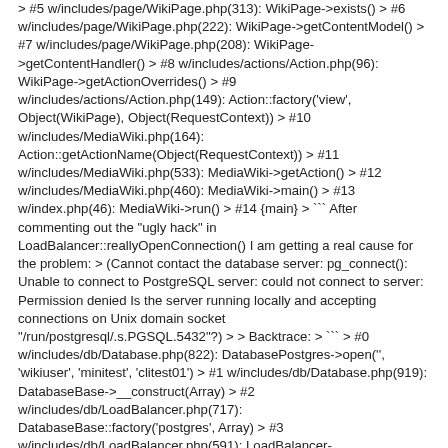> #5 w/includes/page/WikiPage.php(313): WikiPage->exists() > #6 w/includes/page/WikiPage.php(222): WikiPage->getContentModel() > #7 w/includes/page/WikiPage.php(208): WikiPage->getContentHandler() > #8 w/includes/actions/Action.php(96): WikiPage->getActionOverrides() > #9 w/includes/actions/Action.php(149): Action::factory('view', Object(WikiPage), Object(RequestContext)) > #10 w/includes/MediaWiki.php(164): Action::getActionName(Object(RequestContext)) > #11 w/includes/MediaWiki.php(533): MediaWiki->getAction() > #12 w/includes/MediaWiki.php(460): MediaWiki->main() > #13 w/index.php(46): MediaWiki->run() > #14 {main} > ``` After commenting out the "ugly hack" in LoadBalancer::reallyOpenConnection() I am getting a real cause for the problem: > (Cannot contact the database server: pg_connect(): Unable to connect to PostgreSQL server: could not connect to server: Permission denied Is the server running locally and accepting connections on Unix domain socket "/run/postgresql/.s.PGSQL.5432"?) > > Backtrace: > ``` > #0 w/includes/db/Database.php(822): DatabasePostgres->open('', 'wikiuser', 'minitest', 'clitest01') > #1 w/includes/db/Database.php(919): DatabaseBase->__construct(Array) > #2 w/includes/db/LoadBalancer.php(717): DatabaseBase::factory('postgres', Array) > #3 w/includes/db/LoadBalancer.php(591): LoadBalancer->reallyOpenConnection(Array, false) > #4